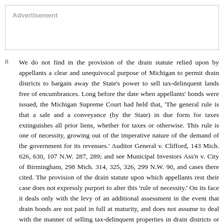Advertisement
8  We do not find in the provision of the drain statute relied upon by appellants a clear and unequivocal purpose of Michigan to permit drain districts to bargain away the State's power to sell tax-delinquent lands free of encumbrances. Long before the date when appellants' bonds were issued, the Michigan Supreme Court had held that, 'The general rule is that a sale and a conveyance (by the State) in due form for taxes extinguishes all prior liens, whether for taxes or otherwise. This rule is one of necessity, growing out of the imperative nature of the demand of the government for its revenues.' Auditor General v. Clifford, 143 Mich. 626, 630, 107 N.W. 287, 289; and see Municipal Investors Ass'n v. City of Birmingham, 298 Mich. 314, 325, 326, 299 N.W. 90, and cases there cited. The provision of the drain statute upon which appellants rest their case does not expressly purport to alter this 'rule of necessity.' On its face it deals only with the levy of an additional assessment in the event that drain bonds are not paid in full at maturity, and does not assume to deal with the manner of selling tax-delinquent properties in drain districts or the kind of title that can be conveyed at such sales. 'The language